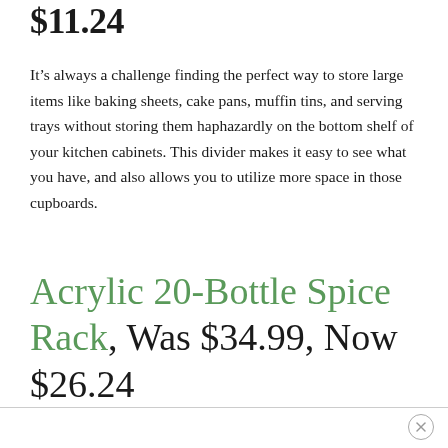$11.24
It’s always a challenge finding the perfect way to store large items like baking sheets, cake pans, muffin tins, and serving trays without storing them haphazardly on the bottom shelf of your kitchen cabinets. This divider makes it easy to see what you have, and also allows you to utilize more space in those cupboards.
Acrylic 20-Bottle Spice Rack, Was $34.99, Now $26.24